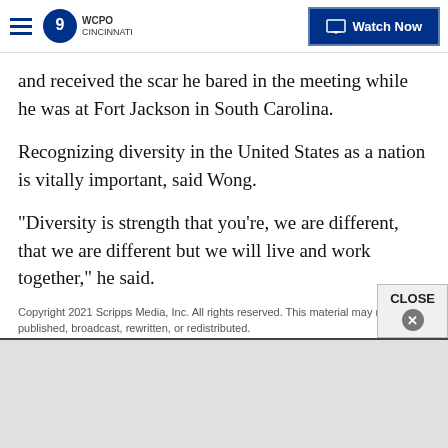WCPO 9 CINCINNATI | Watch Now
and received the scar he bared in the meeting while he was at Fort Jackson in South Carolina.
Recognizing diversity in the United States as a nation is vitally important, said Wong.
"Diversity is strength that you're, we are different, that we are different but we will live and work together," he said.
Copyright 2021 Scripps Media, Inc. All rights reserved. This material may not be published, broadcast, rewritten, or redistributed.